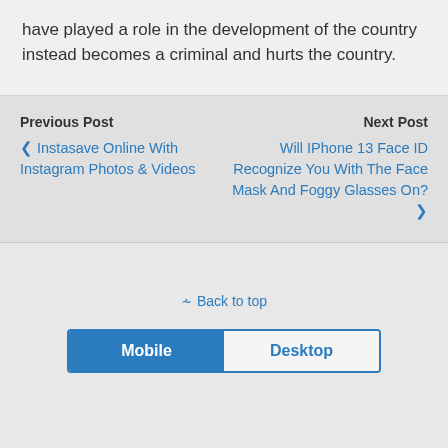have played a role in the development of the country instead becomes a criminal and hurts the country.
Previous Post
‹ Instasave Online With Instagram Photos & Videos
Next Post
Will IPhone 13 Face ID Recognize You With The Face Mask And Foggy Glasses On? ›
⇪ Back to top
Mobile   Desktop